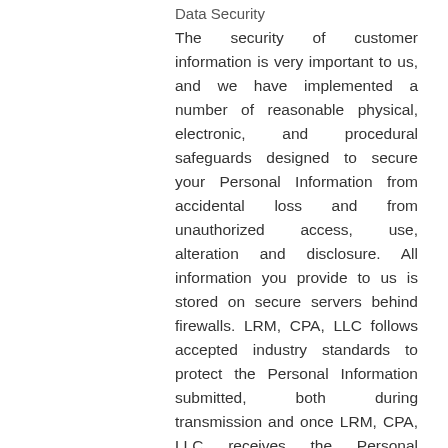Data Security
The security of customer information is very important to us, and we have implemented a number of reasonable physical, electronic, and procedural safeguards designed to secure your Personal Information from accidental loss and from unauthorized access, use, alteration and disclosure. All information you provide to us is stored on secure servers behind firewalls. LRM, CPA, LLC follows accepted industry standards to protect the Personal Information submitted, both during transmission and once LRM, CPA, LLC receives the Personal Information. When sensitive Personal Information (such as a account number) is collected on our Websites and/or transmitted to other websites, it is protected through the use of encryption, such as the Secure Socket Layer (SSL) protocol. You can verify this by looking for a closed lock icon at the bottom of your web browser or looking for "https" at the beginning of the address of the web page. While we use encryption to protect sensitive information transmitted online, we also protect your information offline. We limit access